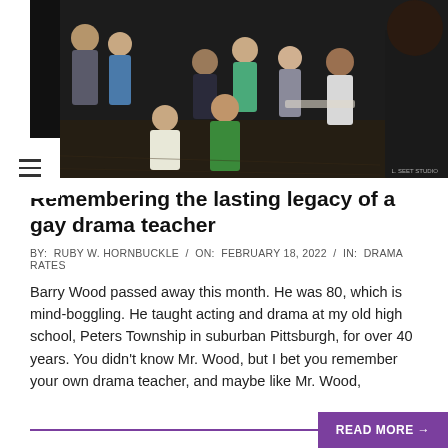[Figure (photo): Group of students sitting on a stage looking toward a teacher or director standing with their back to the camera, in a theater or drama classroom setting. Dark stage backdrop. Photo credit watermark in bottom right corner.]
Remembering the lasting legacy of a gay drama teacher
BY: RUBY W. HORNBUCKLE / ON: FEBRUARY 18, 2022 / IN: DRAMA RATES
Barry Wood passed away this month. He was 80, which is mind-boggling. He taught acting and drama at my old high school, Peters Township in suburban Pittsburgh, for over 40 years. You didn't know Mr. Wood, but I bet you remember your own drama teacher, and maybe like Mr. Wood,
READ MORE →